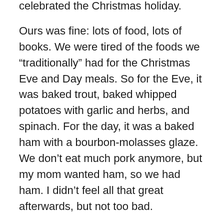I hope everyone had a good weekend, whether or not you celebrated the Christmas holiday.
Ours was fine: lots of food, lots of books. We were tired of the foods we “traditionally” had for the Christmas Eve and Day meals. So for the Eve, it was baked trout, baked whipped potatoes with garlic and herbs, and spinach. For the day, it was a baked ham with a bourbon-molasses glaze. We don’t eat much pork anymore, but my mom wanted ham, so we had ham. I didn’t feel all that great afterwards, but not too bad.
Desserts were stollen on the Eve and chocolate mousse on the day, and that was all good.
We usually do presents on the Eve and stockings on the Day, but, again, my mom wanted to wait and do everything on the Day, so that’s what we did.